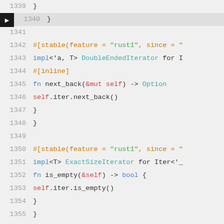[Figure (screenshot): Rust source code viewer showing lines 1339-1357 with syntax highlighting. Line 340 has an arrow marker. Code shows DoubleEndedIterator and ExactSizeIterator implementations.]